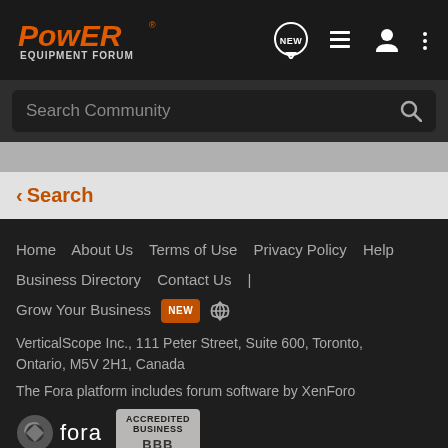[Figure (logo): Power Equipment Forum logo in orange on dark background with navigation icons]
Search Community
< Search
Home  About Us  Terms of Use  Privacy Policy  Help  Business Directory  Contact Us  |  Grow Your Business  NEW  (rss)
VerticalScope Inc., 111 Peter Street, Suite 600, Toronto, Ontario, M5V 2H1, Canada
The Fora platform includes forum software by XenForo
[Figure (logo): Fora logo and BBB Accredited Business badge]